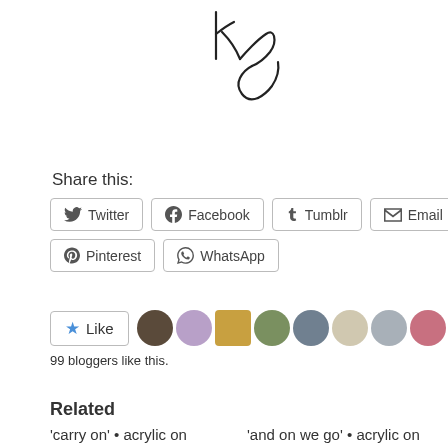[Figure (illustration): A handwritten signature or artistic script text in black ink against a white background, positioned at the top center of the page.]
Share this:
[Figure (infographic): Row of social share buttons: Twitter, Facebook, Tumblr, Email on first row; Pinterest, WhatsApp on second row. Each button has an icon and label, bordered with rounded corners.]
[Figure (infographic): Like button with a blue star icon and the word 'Like', followed by a strip of circular avatar thumbnails of blog users who liked the post.]
99 bloggers like this.
Related
'carry on' • acrylic on
'and on we go' • acrylic on